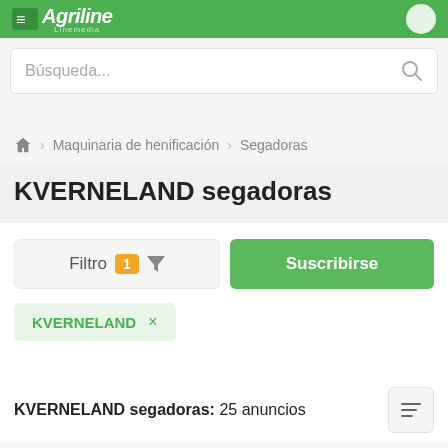Agriline Linemedia
Búsqueda...
🏠 > Maquinaria de henificación > Segadoras
KVERNELAND segadoras
Filtro 1 ▼  Suscribirse
KVERNELAND ×
KVERNELAND segadoras: 25 anuncios